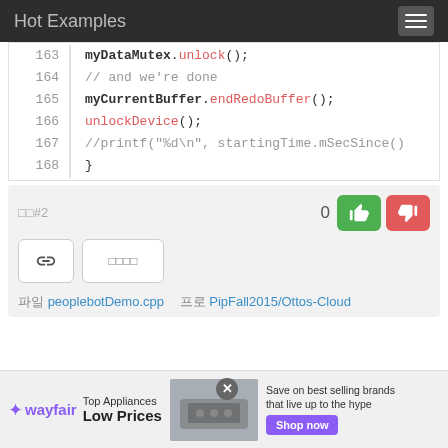Hot Examples
163   myDataMutex.unlock();
164   // and we're done
165   myCurrentBuffer.endRedoBuffer();
166   unlockDevice();
167   //printf("%d\n", startingTime.mSecSince()
168   }
#2  0 [thumbs up] [thumbs down]
[link icon] [squares icon]
파일 peoplebotDemo.cpp   프로 PipFall2015/Ottos-Cloud
[Figure (screenshot): Wayfair advertisement banner with logo, Top Appliances Low Prices text, stove image, and Shop now button]